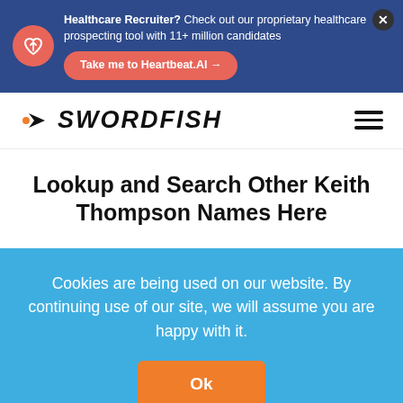[Figure (screenshot): Healthcare Recruiter banner ad with heart icon, text about proprietary healthcare prospecting tool with 11+ million candidates, a pink CTA button 'Take me to Heartbeat.AI →', and a close X button, on a dark blue background.]
[Figure (logo): Swordfish logo with orange arrow/chevron icon and bold italic black SWORDFISH text, plus hamburger menu icon on the right.]
Lookup and Search Other Keith Thompson Names Here
Cookies are being used on our website. By continuing use of our site, we will assume you are happy with it.